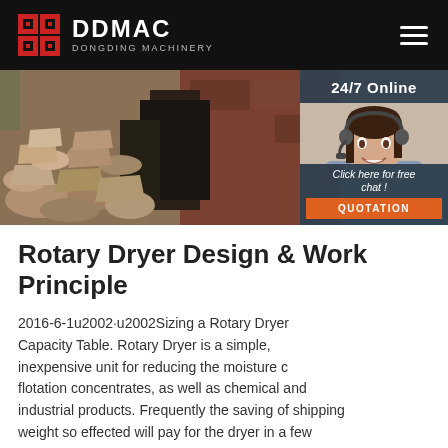DDMAC DONGDING MACHINERY
[Figure (photo): Photo of stones/rubble with industrial machinery in background, and a customer service agent with headset overlay showing 24/7 Online chat widget]
Rotary Dryer Design & Working Principle
2016-6-1u2002·u2002Sizing a Rotary Dryer Capacity Table. Rotary Dryer is a simple, inexpensive unit for reducing the moisture content of flotation concentrates, as well as chemical and industrial products. Frequently the saving of shipping weight so effected will pay for the dryer in a few months. Difficulties from freezing while in transit are also ...